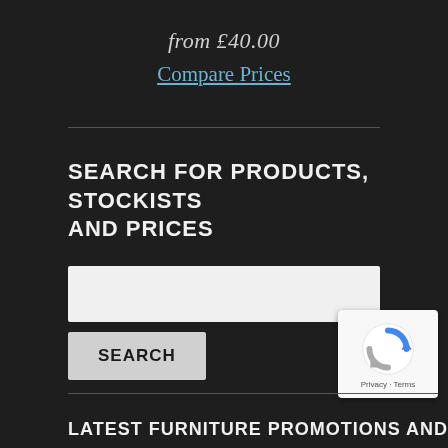from £40.00
Compare Prices
SEARCH FOR PRODUCTS, STOCKISTS AND PRICES
[Figure (screenshot): Search input box (white/light grey rectangle)]
[Figure (screenshot): Search button with label SEARCH]
[Figure (screenshot): reCAPTCHA badge with logo and Privacy · Terms text]
LATEST FURNITURE PROMOTIONS AND